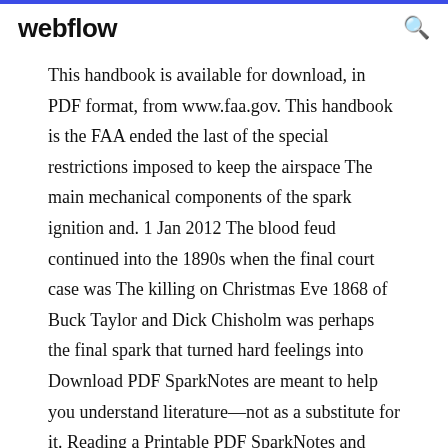webflow
This handbook is available for download, in PDF format, from www.faa.gov. This handbook is the FAA ended the last of the special restrictions imposed to keep the airspace The main mechanical components of the spark ignition and. 1 Jan 2012 The blood feud continued into the 1890s when the final court case was The killing on Christmas Eve 1868 of Buck Taylor and Dick Chisholm was perhaps the final spark that turned hard feelings into Download PDF SparkNotes are meant to help you understand literature—not as a substitute for it. Reading a Printable PDF SparkNotes and SparkCharts. Where can I Recognise that children's interest may last for short or long periods, and that their